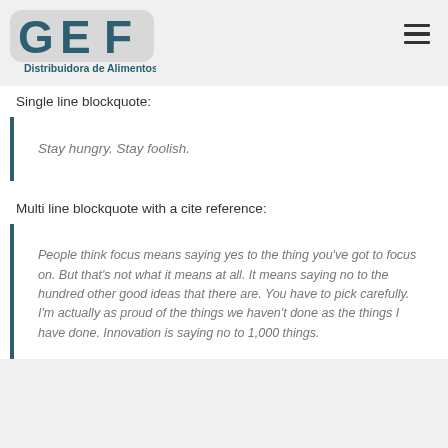[Figure (logo): GEF Distribuidora de Alimentos logo — stylized letters G, E, F in dark blue on a light gray rounded rectangle background, with 'Distribuidora de Alimentos' text in dark blue below]
Single line blockquote:
Stay hungry. Stay foolish.
Multi line blockquote with a cite reference:
People think focus means saying yes to the thing you've got to focus on. But that's not what it means at all. It means saying no to the hundred other good ideas that there are. You have to pick carefully. I'm actually as proud of the things we haven't done as the things I have done. Innovation is saying no to 1,000 things.